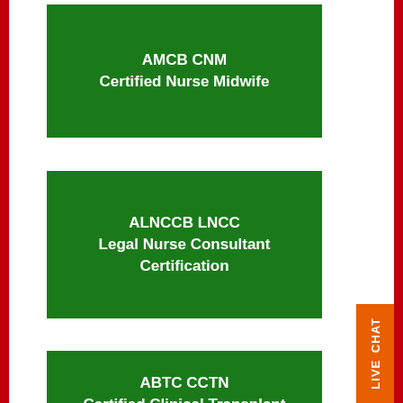[Figure (infographic): Green card with white text: AMCB CNM Certified Nurse Midwife]
AMCB CNM
Certified Nurse Midwife
[Figure (infographic): Green card with white text: ALNCCB LNCC Legal Nurse Consultant Certification]
ALNCCB LNCC
Legal Nurse Consultant Certification
[Figure (infographic): Green card with white text: ABTC CCTN Certified Clinical Transplant Nurses]
ABTC CCTN
Certified Clinical Transplant Nurses